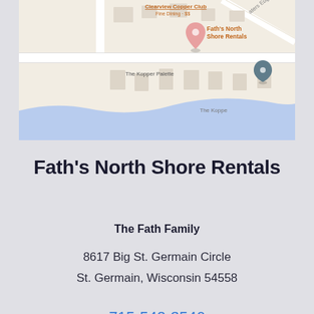[Figure (map): Google Maps screenshot showing the location of Fath's North Shore Rentals. Map shows nearby businesses including Clearview Copper Club Fine Dining $$, Fath's North Shore Rentals (pink pin), The Kopper Palette, and The Kopper (with a blue teardrop pin). A blue water/lake area is visible at the bottom of the map.]
Fath's North Shore Rentals
The Fath Family
8617 Big St. Germain Circle
St. Germain, Wisconsin 54558
715-542-3546